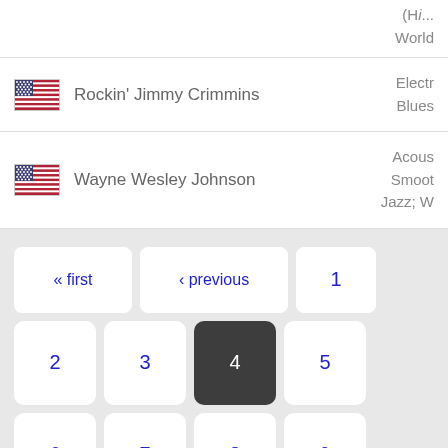| Flag | Artist | Genre |
| --- | --- | --- |
| [US flag] | Rockin' Jimmy Crimmins | Electr... Blues |
| [US flag] | Wayne Wesley Johnson | Acous... Smoot... Jazz; W... |
« first
‹ previous
1
2
3
4 (current)
5
6
7
8
9
…
next ›
last »